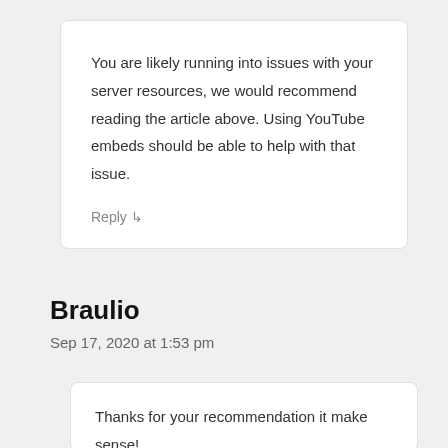You are likely running into issues with your server resources, we would recommend reading the article above. Using YouTube embeds should be able to help with that issue.
Reply ↳
Braulio
Sep 17, 2020 at 1:53 pm
Thanks for your recommendation it make sense!